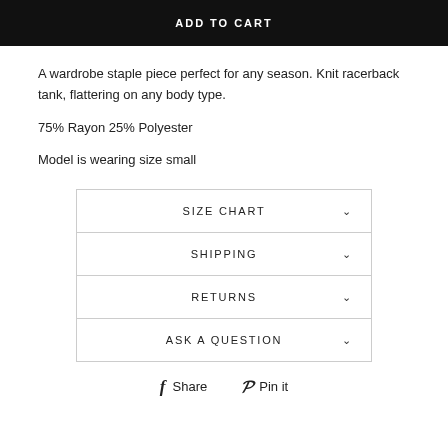ADD TO CART
A wardrobe staple piece perfect for any season. Knit racerback tank, flattering on any body type.
75% Rayon 25% Polyester
Model is wearing size small
SIZE CHART
SHIPPING
RETURNS
ASK A QUESTION
Share  Pin it